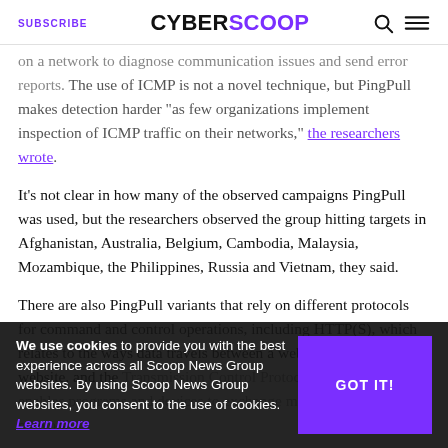SUBSCRIBE  CYBERSCOOP
on a network to diagnose communication issues and send error reports. The use of ICMP is not a novel technique, but PingPull makes detection harder “as few organizations implement inspection of ICMP traffic on their networks,” the researchers wrote.
It’s not clear in how many of the observed campaigns PingPull was used, but the researchers observed the group hitting targets in Afghanistan, Australia, Belgium, Cambodia, Malaysia, Mozambique, the Philippines, Russia and Vietnam, they said.
There are also PingPull variants that rely on different protocols for command and control operations, including HTTP(S), which relates to the ways data travels between a web browser and a website, and the Transmission Control Protocol or TCP, which enables programs and devices to exchange messages over a network.
...iant, the malware mimics legitimate computer operations to try and blend into normal
We use cookies to provide you with the best experience across all Scoop News Group websites. By using Scoop News Group websites, you consent to the use of cookies. Learn more  GOT IT!